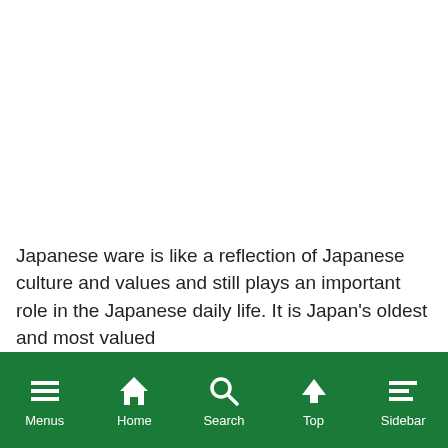Japanese ware is like a reflection of Japanese culture and values and still plays an important role in the Japanese daily life. It is Japan's oldest and most valued...
Menus | Home | Search | Top | Sidebar